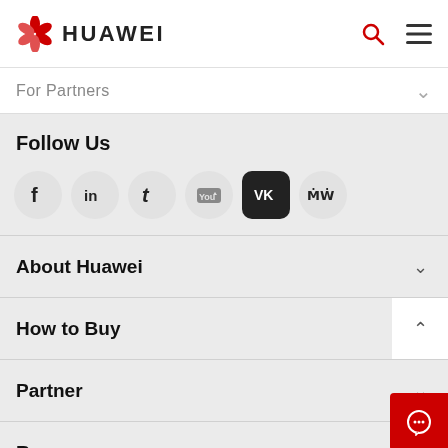HUAWEI
For Partners
Follow Us
[Figure (other): Social media icons row: Facebook, LinkedIn, Twitter, YouTube, VK, MW]
About Huawei
How to Buy
Partner
Resources
Quick Links
Huawei e+ App